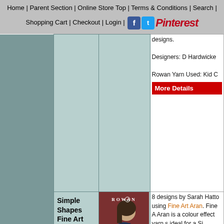Home | Parent Section | Online Store Top | Terms & Conditions | Search | Shopping Cart | Checkout | Login |
designs.

Designers: D Hardwicke

Rowan Yarns Used: Kid C
More Details
Simple Shapes Fine Art Aran
[Figure (photo): Book cover of Simple Shapes Fine Art Aran by Rowan, showing a woman wearing a blue-toned fine art aran sweater]
8 designs by Sarah Hatto using Fine Art Aran. Fine Art Aran is a colour effect yarn s ideal for a Simple Shapes collections, the hand painted colour blend shine through allowing the unique colour be shown of This soft ara weight yarn ideal for the sweaters, si